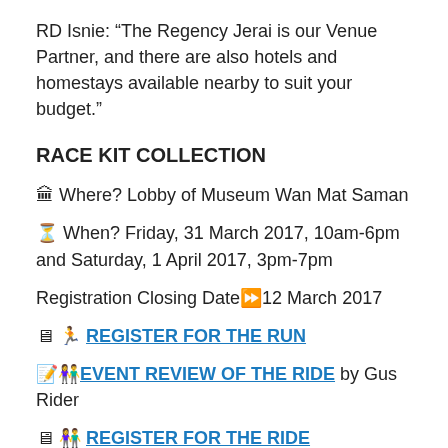RD Isnie: “The Regency Jerai is our Venue Partner, and there are also hotels and homestays available nearby to suit your budget.”
RACE KIT COLLECTION
🏛 Where? Lobby of Museum Wan Mat Saman
⏳ When? Friday, 31 March 2017, 10am-6pm and Saturday, 1 April 2017, 3pm-7pm
Registration Closing Date⏩ 12 March 2017
💺 🏃 REGISTER FOR THE RUN
📝👫 EVENT REVIEW OF THE RIDE by Gus Rider
💺👫 REGISTER FOR THE RIDE